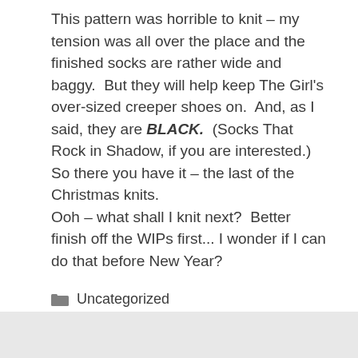This pattern was horrible to knit – my tension was all over the place and the finished socks are rather wide and baggy.  But they will help keep The Girl's over-sized creeper shoes on.  And, as I said, they are BLACK.  (Socks That Rock in Shadow, if you are interested.)
So there you have it – the last of the Christmas knits.
Ooh – what shall I knit next?  Better finish off the WIPs first... I wonder if I can do that before New Year?
Uncategorized
< Farewell 2012
> Merry Christmas!!!